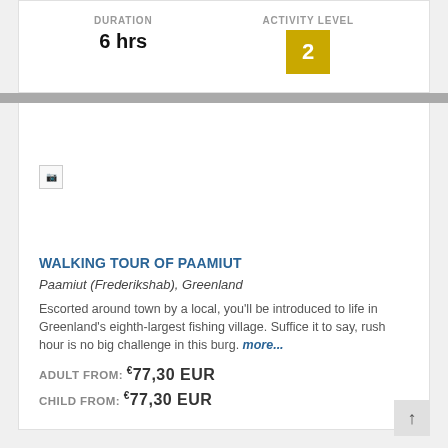DURATION: 6 hrs | ACTIVITY LEVEL: 2
[Figure (photo): Placeholder image for Walking Tour of Paamiut (broken image icon)]
WALKING TOUR OF PAAMIUT
Paamiut (Frederikshab), Greenland
Escorted around town by a local, you'll be introduced to life in Greenland's eighth-largest fishing village. Suffice it to say, rush hour is no big challenge in this burg. more...
ADULT FROM: €77,30 EUR
CHILD FROM: €77,30 EUR